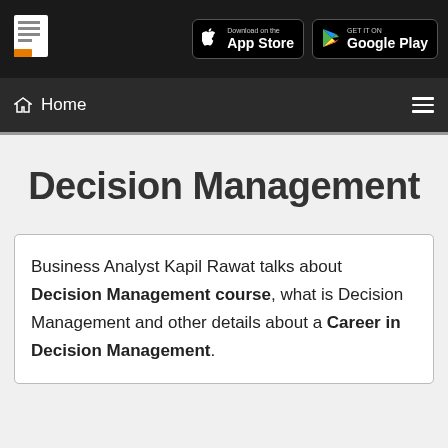[Figure (screenshot): Top navigation bar with document logo icon on left and App Store / Google Play download buttons on right, on dark background]
Home
Decision Management
Business Analyst Kapil Rawat talks about Decision Management course, what is Decision Management and other details about a Career in Decision Management.